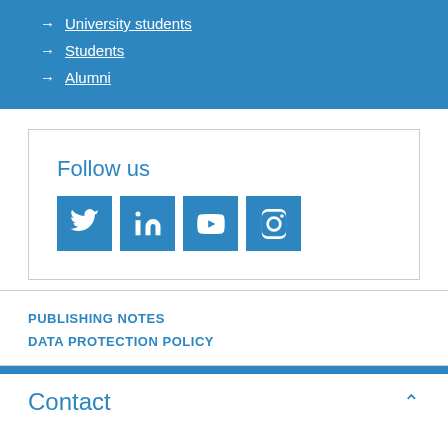University students
Students
Alumni
Follow us
[Figure (infographic): Four social media icons: Twitter, LinkedIn, YouTube, Instagram — blue square buttons with white icons]
PUBLISHING NOTES
DATA PROTECTION POLICY
Contact